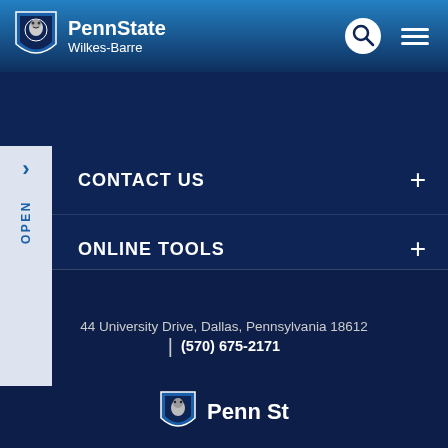PennState Wilkes-Barre
CONTACT US
ONLINE TOOLS
HELPFUL LINKS
44 University Drive, Dallas, Pennsylvania 18612 | (570) 675-2171
[Figure (logo): Penn State shield logo with Nittany Lion at bottom of page]